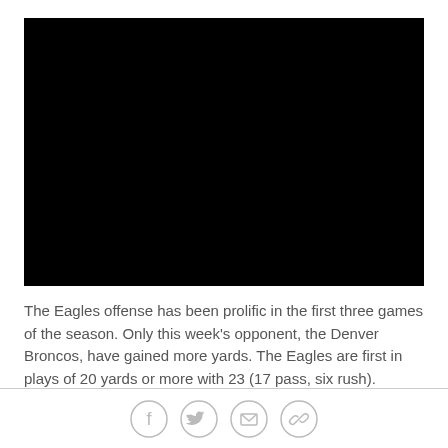[Figure (photo): Black video player embed area]
The Eagles offense has been prolific in the first three games of the season. Only this week's opponent, the Denver Broncos, have gained more yards. The Eagles are first in plays of 20 yards or more with 23 (17 pass, six rush).
[Figure (other): Social share icons: Facebook, Twitter, Email, Link]